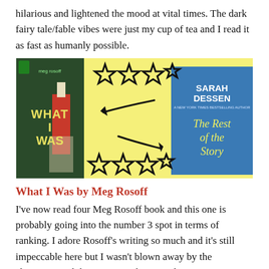hilarious and lightened the mood at vital times. The dark fairy tale/fable vibes were just my cup of tea and I read it as fast as humanly possible.
[Figure (illustration): A collage image with a yellow background showing two book covers: 'What I Was' by Meg Rosoff on the left (dark cover with lighthouse), and 'The Rest of the Story' by Sarah Dessen on the right (blue cover). In the middle are hand-drawn black stars (3.5 stars on top, 3.5 stars on bottom) and two curved arrows pointing left and right between the books.]
What I Was by Meg Rosoff
I've now read four Meg Rosoff book and this one is probably going into the number 3 spot in terms of ranking. I adore Rosoff's writing so much and it's still impeccable here but I wasn't blown away by the characters and this is a very character driven story. Our MC has moved to a new boys boarding school (I think it's set in the 50s/60s but it's not specified) and finds himself forging a